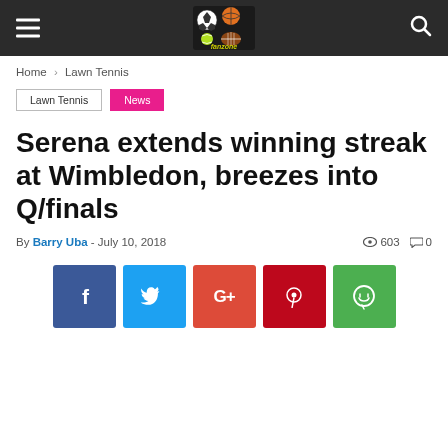Fanzone — navigation header with hamburger menu, logo, and search icon
Home › Lawn Tennis
Lawn Tennis   News
Serena extends winning streak at Wimbledon, breezes into Q/finals
By Barry Uba - July 10, 2018   👁 603   💬 0
[Figure (infographic): Social share buttons: Facebook (blue), Twitter (cyan), Google+ (orange-red), Pinterest (dark red), WhatsApp (green)]